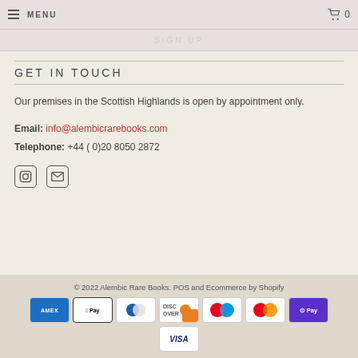MENU | SIGN UP | 0
GET IN TOUCH
Our premises in the Scottish Highlands is open by appointment only.
Email: info@alembicrarebooks.com
Telephone: +44 ( 0)20 8050 2872
[Figure (illustration): Instagram and email social media icons]
© 2022 Alembic Rare Books. POS and Ecommerce by Shopify
[Figure (infographic): Payment method logos: AMEX, Apple Pay, Diners Club, Discover, Mastercard (red/blue), Mastercard, O Pay, VISA]